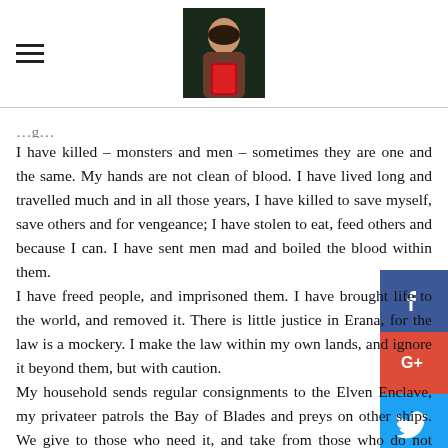[hamburger menu icon] [profile photo of woman with book]
I have killed – monsters and men – sometimes they are one and the same. My hands are not clean of blood. I have lived long and travelled much and in all those years, I have killed to save myself, save others and for vengeance; I have stolen to eat, feed others and because I can. I have sent men mad and boiled the blood within them.
I have freed people, and imprisoned them. I have brought life to the world, and removed it. There is little justice in Erana, for the law is a mockery. I make the law within my own lands, and ignore it beyond them, but with caution.
My household sends regular consignments to the Elven Enclave, my privateer patrols the Bay of Blades and preys on other ships. We give to those who need it, and take from those who do not deserve to have it.
Am I good man? No, I am a traitor to those who rule this land, a murderer, an outlaw, a thief, an anathema to the Order of Witch Hunters. Yet I will stand for those who cannot stand for...